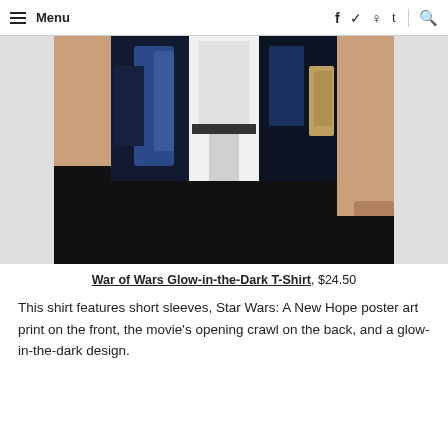Menu  f  ✓  p  t  🔍
[Figure (photo): A male model wearing a Star Wars: A New Hope poster art print t-shirt with black pants, cropped to show torso and hands only. The shirt features a dark blue and white graphic with Star Wars characters.]
War of Wars Glow-in-the-Dark T-Shirt, $24.50
This shirt features short sleeves, Star Wars: A New Hope poster art print on the front, the movie's opening crawl on the back, and a glow-in-the-dark design.